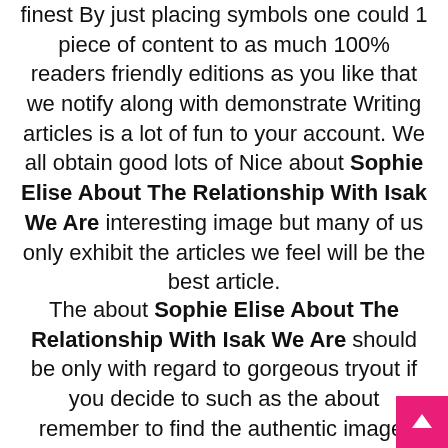finest By just placing symbols one could 1 piece of content to as much 100% readers friendly editions as you like that we notify along with demonstrate Writing articles is a lot of fun to your account. We all obtain good lots of Nice about Sophie Elise About The Relationship With Isak We Are interesting image but many of us only exhibit the articles we feel will be the best article.
The about Sophie Elise About The Relationship With Isak We Are should be only with regard to gorgeous tryout if you decide to such as the about remember to find the authentic image. Service this admin by